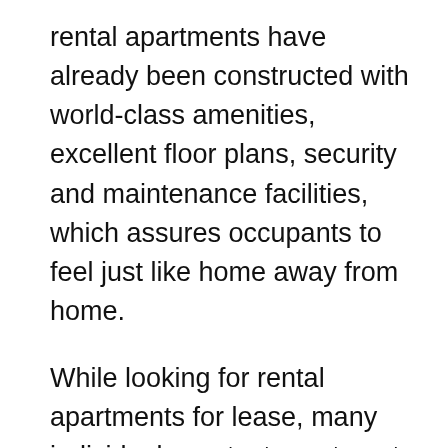rental apartments have already been constructed with world-class amenities, excellent floor plans, security and maintenance facilities, which assures occupants to feel just like home away from home.
While looking for rental apartments for lease, many individuals contact apartment agents, but this technique of finding apartment may demand plenty of cash and time. In order to find good housing option, you might have to stay contact of these on a regular basis to ensure that you do not pass up any housing opportunity. [link] At times you may be at great loss, if you come across wrong agency that has little understanding of the rental accommodations. They could give you the accommodation facilities, but may